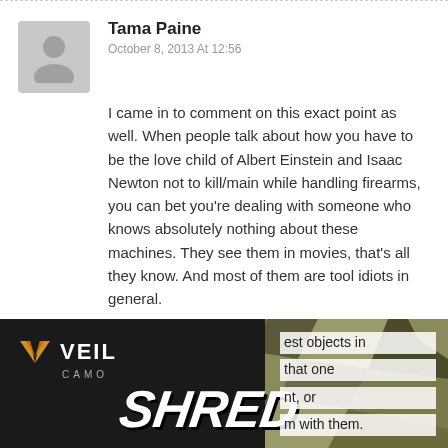Tama Paine
October 8, 2013 At 12:56
I came in to comment on this exact point as well. When people talk about how you have to be the love child of Albert Einstein and Isaac Newton not to kill/main while handling firearms, you can bet you’re dealing with someone who knows absolutely nothing about these machines. They see them in movies, that’s all they know. And most of them are tool idiots in general.
[Figure (other): VEIL CAMO advertisement banner with SHRED text, showing camouflage imagery and partial text about objects.]